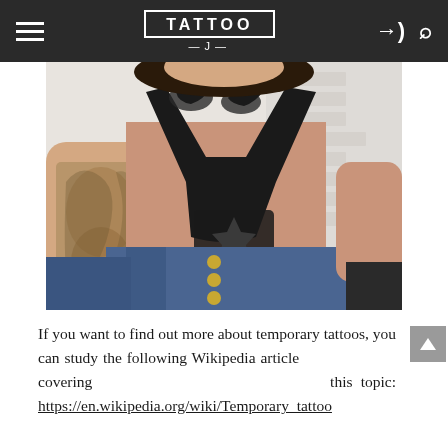TATTOO J
[Figure (photo): Woman with extensive tattoos on her arm and chest/collar area, wearing a black bralette top and high-waisted jeans with gold buttons, seated against a white brick wall background.]
If you want to find out more about temporary tattoos, you can study the following Wikipedia article covering this topic: https://en.wikipedia.org/wiki/Temporary_tattoo